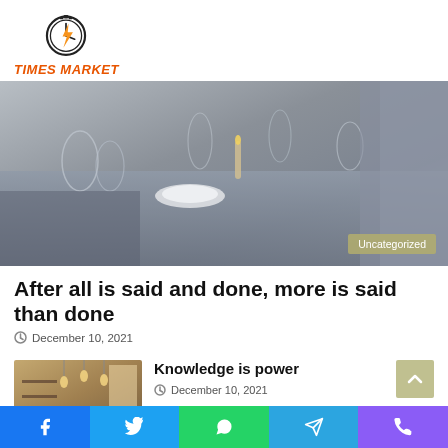[Figure (logo): Times Market logo: a clock/stopwatch icon with an orange lightning bolt, orange brand name TIMES MARKET below]
[Figure (photo): Black and white/desaturated photo of an elegant restaurant table setting with glasses, plates, cutlery, and candles. Badge reading 'Uncategorized' in bottom-right corner.]
After all is said and done, more is said than done
December 10, 2021
[Figure (photo): Small thumbnail of a warm-toned restaurant/cafe interior with hanging pendant lights]
Knowledge is power
December 10, 2021
[Figure (other): Social share bar with Facebook (blue), Twitter (light blue), WhatsApp (green), Telegram (blue), Phone (purple) icons]